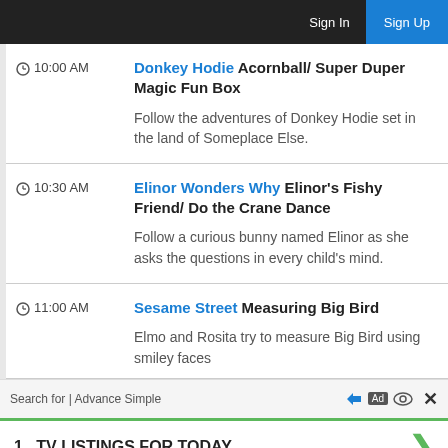Sign In  Sign Up
10:00 AM  Donkey Hodie Acornball/ Super Duper Magic Fun Box
Follow the adventures of Donkey Hodie set in the land of Someplace Else.
10:30 AM  Elinor Wonders Why Elinor's Fishy Friend/ Do the Crane Dance
Follow a curious bunny named Elinor as she asks the questions in every child's mind.
11:00 AM  Sesame Street Measuring Big Bird
Elmo and Rosita try to measure Big Bird using smiley faces...
Search for | Advance Simple
1. TV LISTINGS FOR TODAY